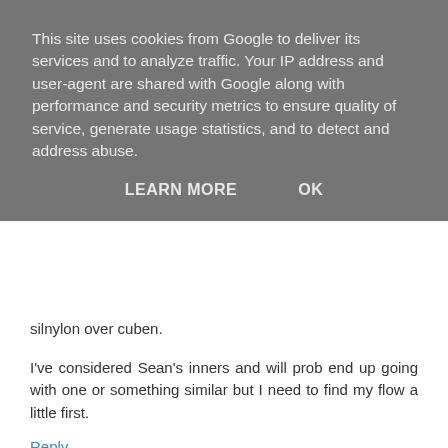This site uses cookies from Google to deliver its services and to analyze traffic. Your IP address and user-agent are shared with Google along with performance and security metrics to ensure quality of service, generate usage statistics, and to detect and address abuse.
LEARN MORE    OK
silnylon over cuben.
I've considered Sean's inners and will prob end up going with one or something similar but I need to find my flow a little first.
Reply
Anonymous 25 June 2012 at 23:09
I have an inner on order with Sean, just finalising the design, so be a little while. Glad videos helped. The TS in my opinion, is fab and.gaveme so much confidence on camp. One of those plastic sheets is.ok to start you.off I'd